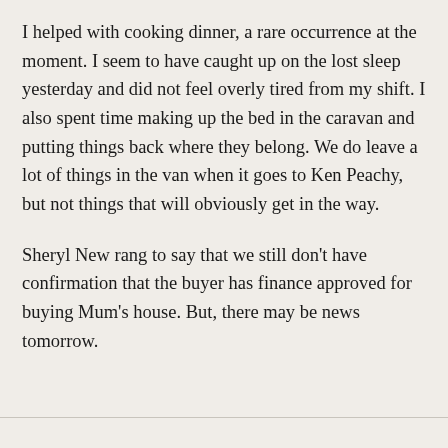I helped with cooking dinner, a rare occurrence at the moment. I seem to have caught up on the lost sleep yesterday and did not feel overly tired from my shift. I also spent time making up the bed in the caravan and putting things back where they belong. We do leave a lot of things in the van when it goes to Ken Peachy, but not things that will obviously get in the way.
Sheryl New rang to say that we still don't have confirmation that the buyer has finance approved for buying Mum's house. But, there may be news tomorrow.